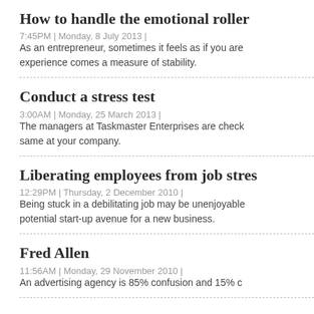How to handle the emotional roller
7:45PM | Monday, 8 July 2013 |
As an entrepreneur, sometimes it feels as if you are experience comes a measure of stability.
Conduct a stress test
3:00AM | Monday, 25 March 2013 |
The managers at Taskmaster Enterprises are check same at your company.
Liberating employees from job stres
12:29PM | Thursday, 2 December 2010 |
Being stuck in a debilitating job may be unenjoyable potential start-up avenue for a new business.
Fred Allen
11:56AM | Monday, 29 November 2010 |
An advertising agency is 85% confusion and 15% c